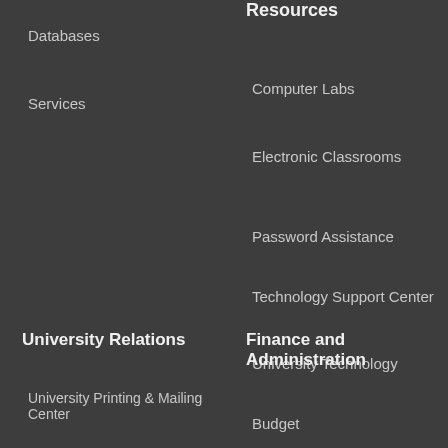Databases
Services
Resources
Computer Labs
Electronic Classrooms
Password Assistance
Technology Support Center
University Technology
University Relations
University Printing & Mailing Center
Finance and Administration
Budget